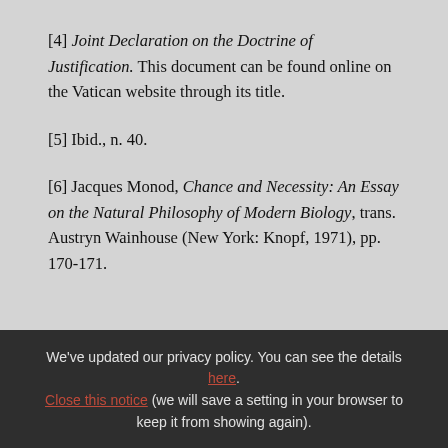[4] Joint Declaration on the Doctrine of Justification. This document can be found online on the Vatican website through its title.
[5] Ibid., n. 40.
[6] Jacques Monod, Chance and Necessity: An Essay on the Natural Philosophy of Modern Biology, trans. Austryn Wainhouse (New York: Knopf, 1971), pp. 170-171.
We've updated our privacy policy. You can see the details here. Close this notice (we will save a setting in your browser to keep it from showing again).